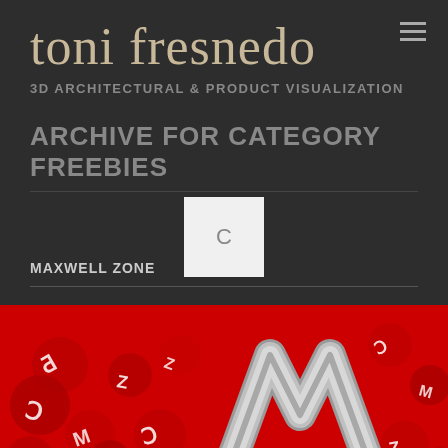toni fresnedo
3D ARCHITECTURAL & PRODUCT VISUALIZATION
ARCHIVE FOR CATEGORY FREEBIES
MAXWELL ZONE
[Figure (photo): Maxwell render software promotional image showing 3D red candy letters and Maxwell logo mark in silver/gray on red background, with 'Shop.Training.Blog' text bar at bottom]
Shop.Training.Blog